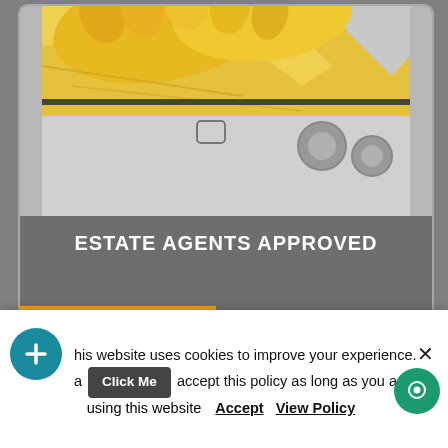[Figure (photo): Close-up photo of yellow rubber gloves and yellow cloth cleaning a white washing machine]
ESTATE AGENTS APPROVED
Book online
This website uses cookies to improve your experience. a accept this policy as long as you are using this website Accept View Policy